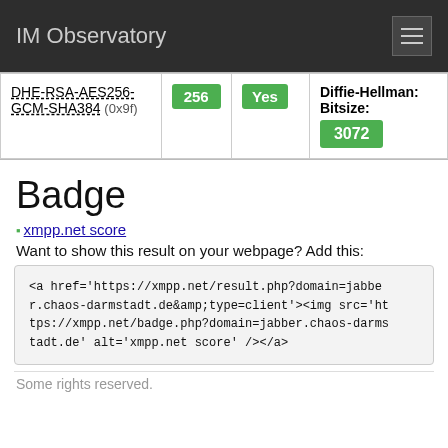IM Observatory
| Cipher | Bits | Forward Secrecy | Details |
| --- | --- | --- | --- |
| DHE-RSA-AES256-GCM-SHA384 (0x9f) | 256 | Yes | Diffie-Hellman: Bitsize: 3072 |
Badge
xmpp.net score
Want to show this result on your webpage? Add this:
<a href='https://xmpp.net/result.php?domain=jabber.chaos-darmstadt.de&amp;type=client'><img src='https://xmpp.net/badge.php?domain=jabber.chaos-darmstadt.de' alt='xmpp.net score' /></a>
Some rights reserved.